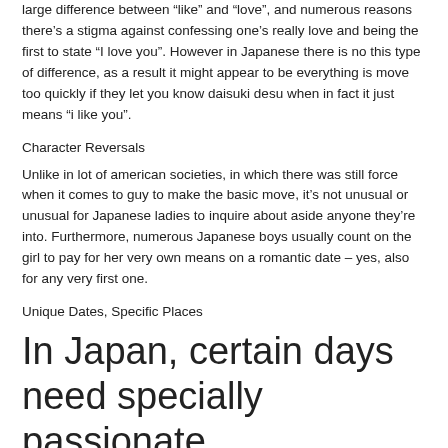large difference between “like” and “love”, and numerous reasons there’s a stigma against confessing one’s really love and being the first to state “I love you”. However in Japanese there is no this type of difference, as a result it might appear to be everything is move too quickly if they let you know daisuki desu when in fact it just means “i like you”.
Character Reversals
Unlike in lot of american societies, in which there was still force when it comes to guy to make the basic move, it’s not unusual or unusual for Japanese ladies to inquire about aside anyone they’re into. Furthermore, numerous Japanese boys usually count on the girl to pay for her very own means on a romantic date – yes, also for any very first one.
Unique Dates, Specific Places
In Japan, certain days need specially passionate connotations that don’t constantly align and their american